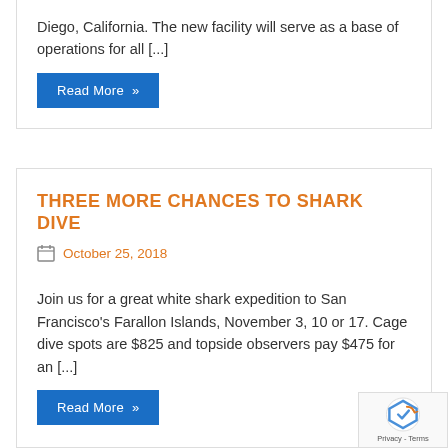Diego, California. The new facility will serve as a base of operations for all [...]
Read More »
THREE MORE CHANCES TO SHARK DIVE
October 25, 2018
Join us for a great white shark expedition to San Francisco's Farallon Islands, November 3, 10 or 17. Cage dive spots are $825 and topside observers pay $475 for an [...]
Read More »